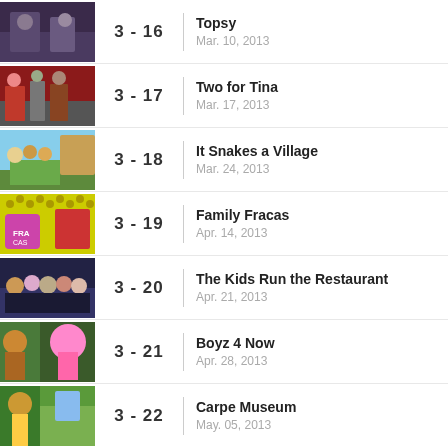3 - 16 | Topsy | Mar. 10, 2013
3 - 17 | Two for Tina | Mar. 17, 2013
3 - 18 | It Snakes a Village | Mar. 24, 2013
3 - 19 | Family Fracas | Apr. 14, 2013
3 - 20 | The Kids Run the Restaurant | Apr. 21, 2013
3 - 21 | Boyz 4 Now | Apr. 28, 2013
3 - 22 | Carpe Museum | May. 05, 2013